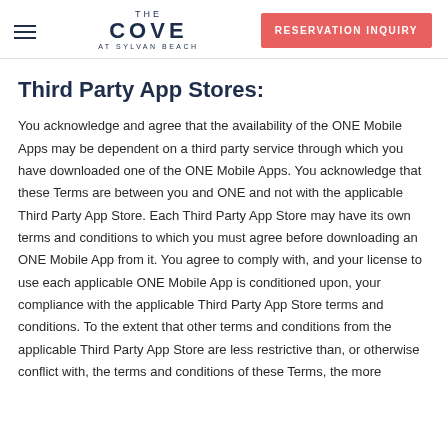THE COVE AT SYLVAN BEACH | RESERVATION INQUIRY
Third Party App Stores:
You acknowledge and agree that the availability of the ONE Mobile Apps may be dependent on a third party service through which you have downloaded one of the ONE Mobile Apps. You acknowledge that these Terms are between you and ONE and not with the applicable Third Party App Store. Each Third Party App Store may have its own terms and conditions to which you must agree before downloading an ONE Mobile App from it. You agree to comply with, and your license to use each applicable ONE Mobile App is conditioned upon, your compliance with the applicable Third Party App Store terms and conditions. To the extent that other terms and conditions from the applicable Third Party App Store are less restrictive than, or otherwise conflict with, the terms and conditions of these Terms, the more